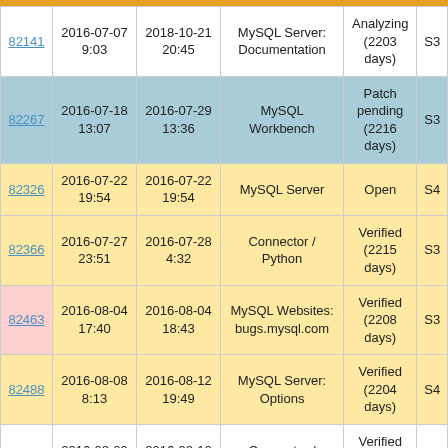| ID | Created | Updated | Component | Status | Sev |
| --- | --- | --- | --- | --- | --- |
| 82141 | 2016-07-07 9:03 | 2018-10-21 20:45 | MySQL Server: Documentation | Analyzing (2203 days) | S3 |
| 82267 | 2016-07-18 13:07 | 2016-07-29 13:36 | MySQL Workbench | Patch pending (2216 days) | S3 |
| 82326 | 2016-07-22 19:54 | 2016-07-22 19:54 | MySQL Server | Open | S4 |
| 82366 | 2016-07-27 23:51 | 2016-07-28 4:32 | Connector / Python | Verified (2215 days) | S3 |
| 82463 | 2016-08-04 17:40 | 2016-08-04 18:43 | MySQL Websites: bugs.mysql.com | Verified (2208 days) | S3 |
| 82488 | 2016-08-08 8:13 | 2016-08-12 19:49 | MySQL Server: Options | Verified (2204 days) | S4 |
| 82517 | 2016-08-09 15:36 | 2016-08-10 5:15 | Connector / Python | Verified (2202 days) | S3 |